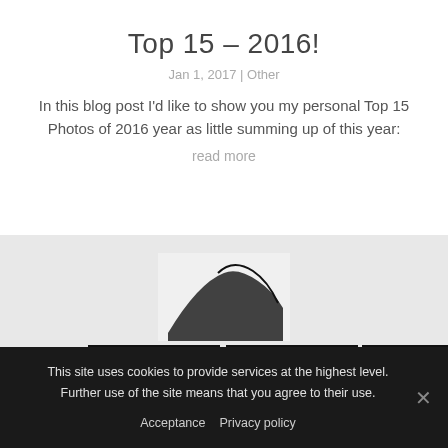Top 15 – 2016!
Jan 1, 2017 | Other
In this blog post I'd like to show you my personal Top 15 Photos of 2016 year as little summing up of this year:
read more
[Figure (photo): Gallery of black and white photos: one top-center showing abstract shapes on white background, three bottom photos on black backgrounds showing abstract motion/dance figures]
This site uses cookies to provide services at the highest level. Further use of the site means that you agree to their use.
Acceptance   Privacy policy